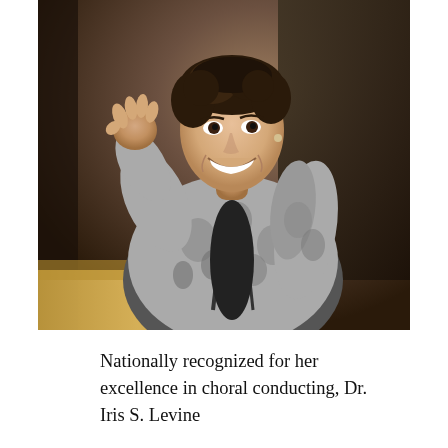[Figure (photo): A smiling woman with dark curly hair wearing a patterned grey and black blazer over a black top, gesturing with her right hand raised, appearing to be conducting or performing. The background is dark and blurred, suggesting an auditorium or concert hall setting.]
Nationally recognized for her excellence in choral conducting, Dr. Iris S. Levine